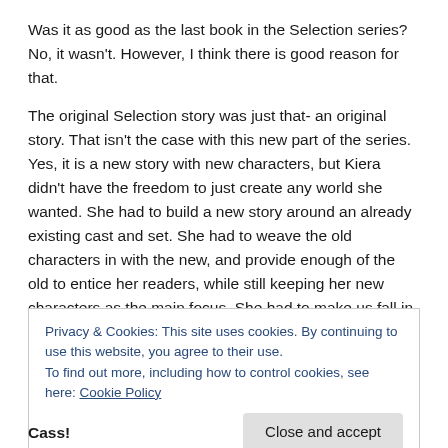Was it as good as the last book in the Selection series? No, it wasn't. However, I think there is good reason for that.
The original Selection story was just that- an original story. That isn't the case with this new part of the series. Yes, it is a new story with new characters, but Kiera didn't have the freedom to just create any world she wanted. She had to build a new story around an already existing cast and set. She had to weave the old characters in with the new, and provide enough of the old to entice her readers, while still keeping her new characters as the main focus. She had to make us fall in love with new people, while we were still
Privacy & Cookies: This site uses cookies. By continuing to use this website, you agree to their use.
To find out more, including how to control cookies, see here: Cookie Policy
Cass!